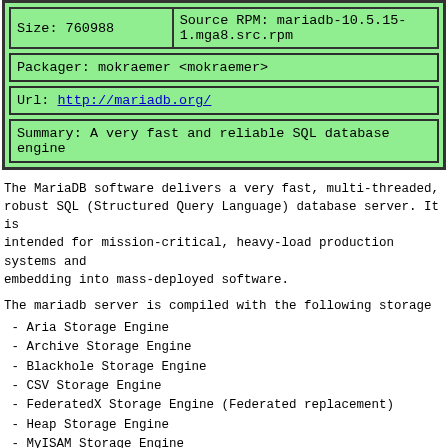| Size: 760988 | Source RPM: mariadb-10.5.15-1.mga8.src.rpm |
Packager: mokraemer <mokraemer>
Url: http://mariadb.org/
Summary: A very fast and reliable SQL database engine
The MariaDB software delivers a very fast, multi-threaded, robust SQL (Structured Query Language) database server. It is intended for mission-critical, heavy-load production systems and embedding into mass-deployed software.
The mariadb server is compiled with the following storage
- Aria Storage Engine
- Archive Storage Engine
- Blackhole Storage Engine
- CSV Storage Engine
- FederatedX Storage Engine (Federated replacement)
- Heap Storage Engine
- MyISAM Storage Engine
- MyISAMMRG Storage Engine
- Partition Storage Engine
- Perfschema Storage Engine
- Percona XtraDB Storage Engine (InnoDB replacement)